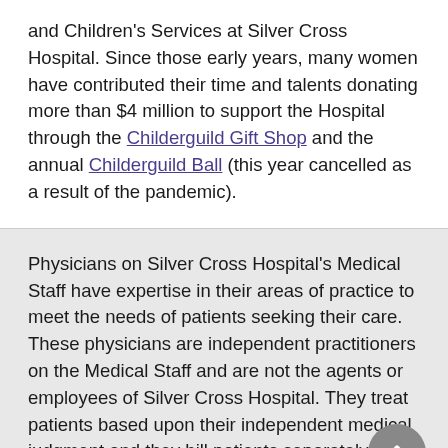and Children's Services at Silver Cross Hospital. Since those early years, many women have contributed their time and talents donating more than $4 million to support the Hospital through the Childerguild Gift Shop and the annual Childerguild Ball (this year cancelled as a result of the pandemic).
Physicians on Silver Cross Hospital's Medical Staff have expertise in their areas of practice to meet the needs of patients seeking their care. These physicians are independent practitioners on the Medical Staff and are not the agents or employees of Silver Cross Hospital. They treat patients based upon their independent medical judgment and they bill patients separately for their services.